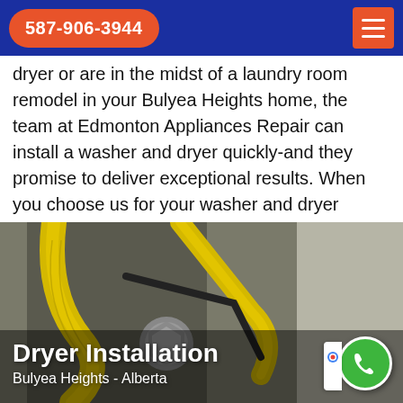587-906-3944
dryer or are in the midst of a laundry room remodel in your Bulyea Heights home, the team at Edmonton Appliances Repair can install a washer and dryer quickly-and they promise to deliver exceptional results. When you choose us for your washer and dryer installation, you'll experience countless benefits and quality service.
[Figure (photo): Close-up photo of yellow flexible gas hose and metal fittings for dryer installation, with text overlay 'Dryer Installation Bulyea Heights - Alberta' and a green phone call button in the bottom right corner.]